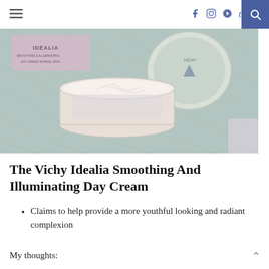≡  f  ⊙  ⊕  t  🔍
[Figure (photo): Open jar of Vichy Idealia cream and its lid/mirror on a fluffy grey rug, with Idealia product box in background]
The Vichy Idealia Smoothing And Illuminating Day Cream
Claims to help provide a more youthful looking and radiant complexion
My thoughts: